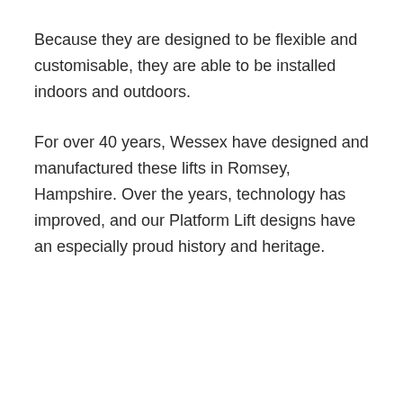Because they are designed to be flexible and customisable, they are able to be installed indoors and outdoors.
For over 40 years, Wessex have designed and manufactured these lifts in Romsey, Hampshire. Over the years, technology has improved, and our Platform Lift designs have an especially proud history and heritage.